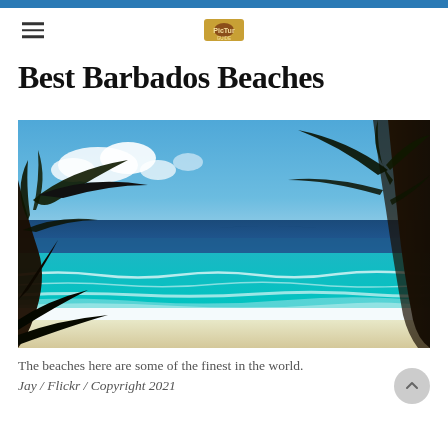Best Barbados Beaches
[Figure (photo): Tropical beach scene in Barbados viewed through palm trees, showing turquoise and deep blue ocean water, white wave foam on a sandy beach, blue sky with scattered clouds, and dark palm tree trunks and fronds framing the view.]
The beaches here are some of the finest in the world.
Jay / Flickr / Copyright 2021